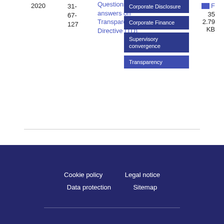2020
31-67-127
Questions and answers on Transparency Directive (TD)
Corporate Disclosure
Corporate Finance
Supervisory convergence
Transparency
35
2.79 KB
Cookie policy   Legal notice   Data protection   Sitemap